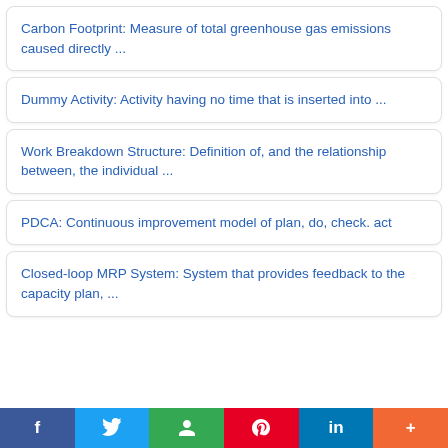Carbon Footprint: Measure of total greenhouse gas emissions caused directly ...
Dummy Activity: Activity having no time that is inserted into ...
Work Breakdown Structure: Definition of, and the relationship between, the individual ...
PDCA: Continuous improvement model of plan, do, check. act
Closed-loop MRP System: System that provides feedback to the capacity plan, ...
f  [Twitter]  [Google+]  [Pinterest]  in  +